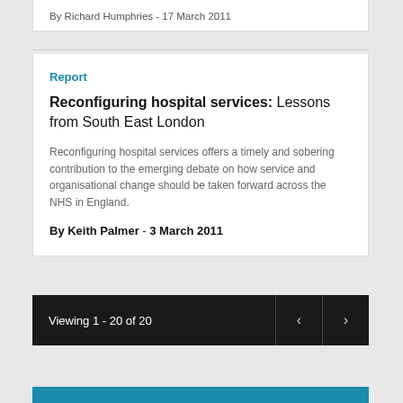By Richard Humphries - 17 March 2011
Report
Reconfiguring hospital services: Lessons from South East London
Reconfiguring hospital services offers a timely and sobering contribution to the emerging debate on how service and organisational change should be taken forward across the NHS in England.
By Keith Palmer - 3 March 2011
Viewing 1 - 20 of 20